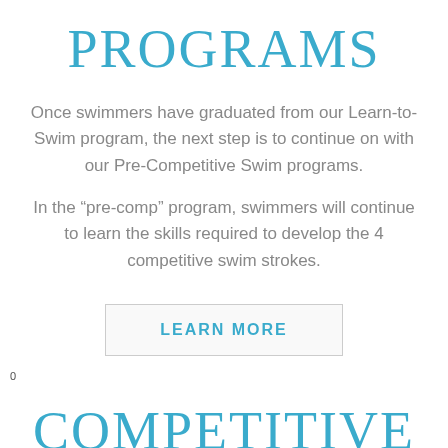PROGRAMS
Once swimmers have graduated from our Learn-to-Swim program, the next step is to continue on with our Pre-Competitive Swim programs.
In the “pre-comp” program, swimmers will continue to learn the skills required to develop the 4 competitive swim strokes.
LEARN MORE
0
COMPETITIVE